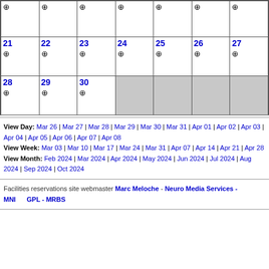| (prev week days) | (prev week days) | (prev week days) | (prev week days) | (prev week days) | (prev week days) | (prev week days) |
| 21 ⊕ | 22 ⊕ | 23 ⊕ | 24 ⊕ | 25 ⊕ | 26 ⊕ | 27 ⊕ |
| 28 ⊕ | 29 ⊕ | 30 ⊕ | (inactive) | (inactive) | (inactive) | (inactive) |
View Day: Mar 26 | Mar 27 | Mar 28 | Mar 29 | Mar 30 | Mar 31 | Apr 01 | Apr 02 | Apr 03 | Apr 04 | Apr 05 | Apr 06 | Apr 07 | Apr 08 View Week: Mar 03 | Mar 10 | Mar 17 | Mar 24 | Mar 31 | Apr 07 | Apr 14 | Apr 21 | Apr 28 View Month: Feb 2024 | Mar 2024 | Apr 2024 | May 2024 | Jun 2024 | Jul 2024 | Aug 2024 | Sep 2024 | Oct 2024
Facilities reservations site webmaster Marc Meloche - Neuro Media Services - MNI      GPL - MRBS